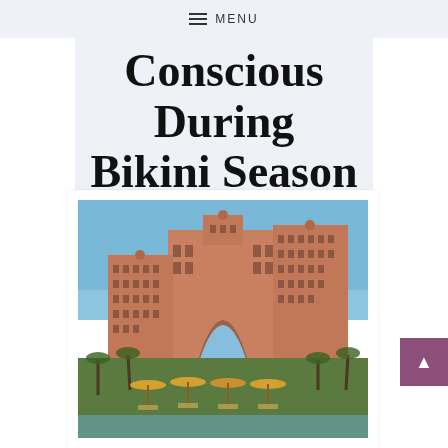MENU
Conscious During Bikini Season
[Figure (photo): Photo of the Atlantis Hotel in Dubai/Palm Jumeirah. A large ornate pink/terracotta colored hotel with a large arch in the center, multiple towers with many floors of windows, ornate architectural details. Below the building are palm trees, beach umbrellas, and lounge chairs. Clear blue sky in the background.]